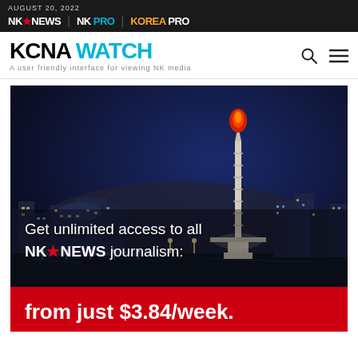AUGUST 20, 2022 | NK NEWS | NK PRO | KOREA PRO
KCNA WATCH — A user friendly interface for viewing NK media
[Figure (photo): Night cityscape of Pyongyang showing illuminated Juche Tower with glowing red flame at top, city lights, river, and buildings in background. Overlaid text: 'Get unlimited access to all NK NEWS journalism:' and red banner 'from just $3.84/week.']